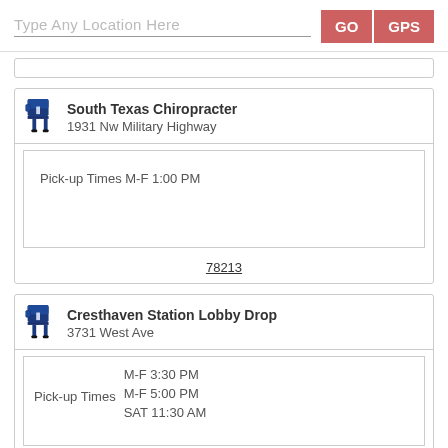Type Any Location Here
GO
GPS
South Texas Chiropracter
1931 Nw Military Highway
Pick-up Times M-F 1:00 PM
78213
Cresthaven Station Lobby Drop
3731 West Ave
Pick-up Times M-F 3:30 PM, M-F 5:00 PM, SAT 11:30 AM